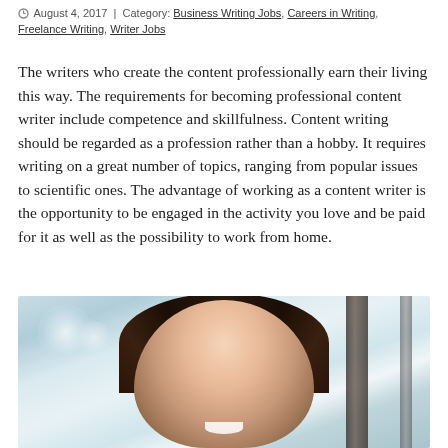August 4, 2017  |  Category: Business Writing Jobs, Careers in Writing, Freelance Writing, Writer Jobs
The writers who create the content professionally earn their living this way. The requirements for becoming professional content writer include competence and skillfulness. Content writing should be regarded as a profession rather than a hobby. It requires writing on a great number of topics, ranging from popular issues to scientific ones. The advantage of working as a content writer is the opportunity to be engaged in the activity you love and be paid for it as well as the possibility to work from home.
[Figure (photo): A young woman with long dark hair smiling, photographed indoors near a window with a blurred bokeh background in light blue/teal tones.]